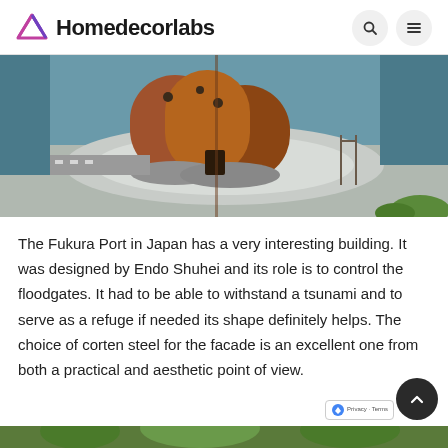Homedecorlabs
[Figure (photo): Aerial view of cylindrical rust-colored corten steel building at Fukura Port, Japan, with circular concrete platform]
The Fukura Port in Japan has a very interesting building. It was designed by Endo Shuhei and its role is to control the floodgates. It had to be able to withstand a tsunami and to serve as a refuge if needed its shape definitely helps. The choice of corten steel for the facade is an excellent one from both a practical and aesthetic point of view.
[Figure (photo): Bottom portion of outdoor scene with green foliage]